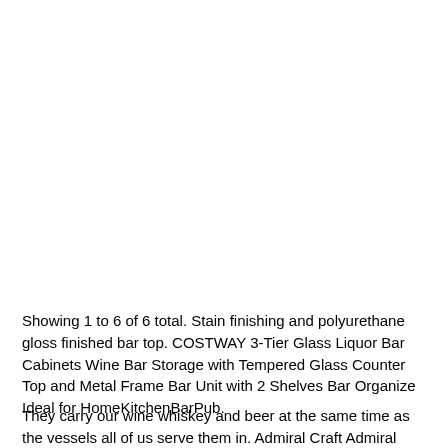Showing 1 to 6 of 6 total. Stain finishing and polyurethane gloss finished bar top. COSTWAY 3-Tier Glass Liquor Bar Cabinets Wine Bar Storage with Tempered Glass Counter Top and Metal Frame Bar Unit with 2 Shelves Bar Organize Ideal for HomeKitchenBarPub.
They carry our wine whiskey and beer at the same time as the vessels all of us serve them in. Admiral Craft Admiral Craft USBB-